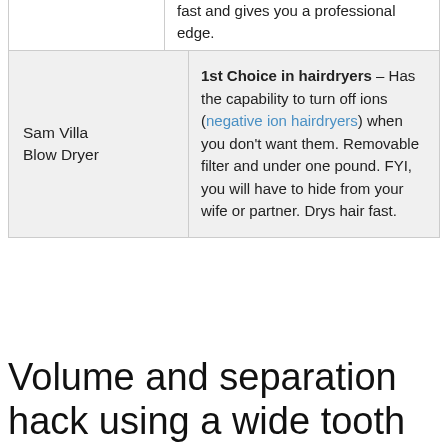fast and gives you a professional edge.
| Product | Description |
| --- | --- |
| Sam Villa Blow Dryer | 1st Choice in hairdryers – Has the capability to turn off ions (negative ion hairdryers) when you don't want them. Removable filter and under one pound. FYI, you will have to hide from your wife or partner. Drys hair fast. |
Volume and separation hack using a wide tooth comb